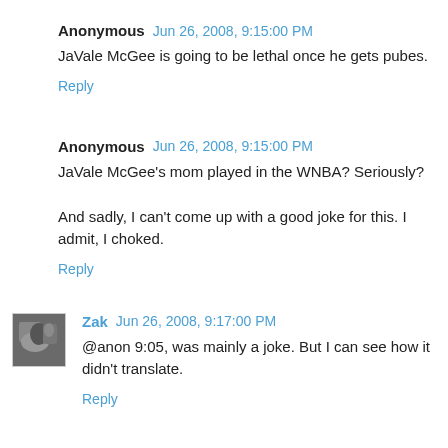Anonymous  Jun 26, 2008, 9:15:00 PM
JaVale McGee is going to be lethal once he gets pubes.
Reply
Anonymous  Jun 26, 2008, 9:15:00 PM
JaVale McGee's mom played in the WNBA? Seriously?

And sadly, I can't come up with a good joke for this. I admit, I choked.
Reply
Zak  Jun 26, 2008, 9:17:00 PM
@anon 9:05, was mainly a joke. But I can see how it didn't translate.
Reply